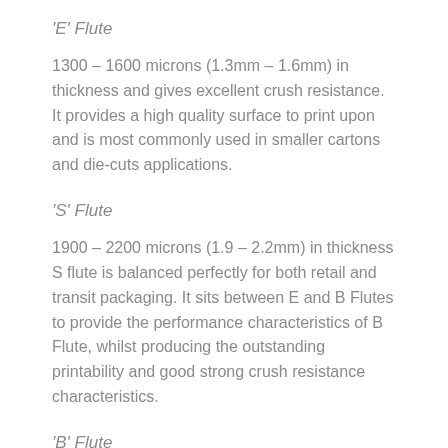'E' Flute
1300 – 1600 microns (1.3mm – 1.6mm) in thickness and gives excellent crush resistance. It provides a high quality surface to print upon and is most commonly used in smaller cartons and die-cuts applications.
'S' Flute
1900 – 2200 microns (1.9 – 2.2mm) in thickness S flute is balanced perfectly for both retail and transit packaging. It sits between E and B Flutes to provide the performance characteristics of B Flute, whilst producing the outstanding printability and good strong crush resistance characteristics.
'B' Flute
2600 – 3000 microns (2.6mm – 3.0mm) in thickness